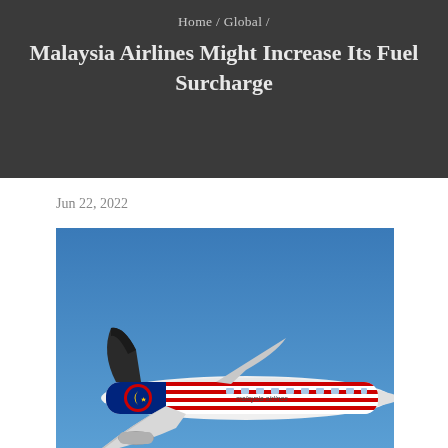Home / Global /
Malaysia Airlines Might Increase Its Fuel Surcharge
Jun 22, 2022
[Figure (photo): Malaysia Airlines Boeing 737 aircraft in flight against a clear blue sky, showing the airline livery with the Malaysian flag motif, crescent moon and star logo on the tail.]